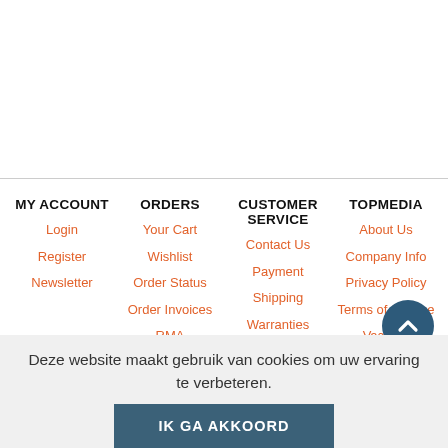MY ACCOUNT | Login | Register | Newsletter | ORDERS | Your Cart | Wishlist | Order Status | Order Invoices | RMA | CUSTOMER SERVICE | Contact Us | Payment | Shipping | Warranties | FAQ | TOPMEDIA | About Us | Company Info | Privacy Policy | Terms of Service | Vacan...
Deze website maakt gebruik van cookies om uw ervaring te verbeteren.
IK GA AKKOORD